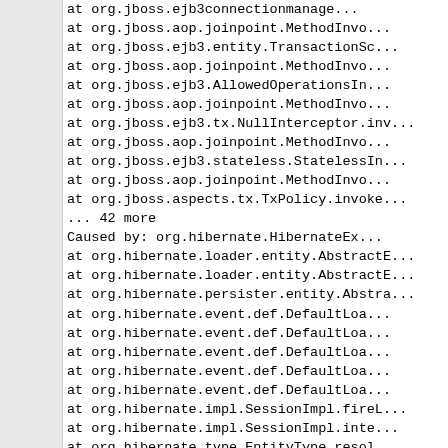[Figure (screenshot): Left panel: gray sidebar]
at org.jboss.ejb3connectionmanage...
at org.jboss.aop.joinpoint.MethodInvo...
at org.jboss.ejb3.entity.TransactionSc...
at org.jboss.aop.joinpoint.MethodInvo...
at org.jboss.ejb3.AllowedOperationsIn...
at org.jboss.aop.joinpoint.MethodInvo...
at org.jboss.ejb3.tx.NullInterceptor.inv...
at org.jboss.aop.joinpoint.MethodInvo...
at org.jboss.ejb3.stateless.StatelessIn...
at org.jboss.aop.joinpoint.MethodInvo...
at org.jboss.aspects.tx.TxPolicy.invoke...
... 42 more
Caused by: org.hibernate.HibernateEx...
at org.hibernate.loader.entity.AbstractE...
at org.hibernate.loader.entity.AbstractE...
at org.hibernate.persister.entity.Abstra...
at org.hibernate.event.def.DefaultLoa...
at org.hibernate.event.def.DefaultLoa...
at org.hibernate.event.def.DefaultLoa...
at org.hibernate.event.def.DefaultLoa...
at org.hibernate.event.def.DefaultLoa...
at org.hibernate.impl.SessionImpl.fireL...
at org.hibernate.impl.SessionImpl.inte...
at org.hibernate.type.EntityType.resol...
at org.hibernate.type.EntityType.resol...
at org.hibernate.type.EntityType.resol...